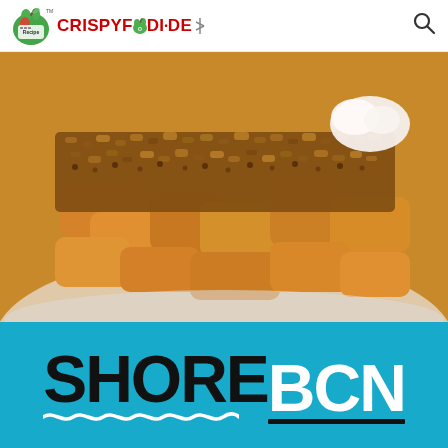CRISPYFOODIDEA
[Figure (photo): Close-up photo of apple crumble dessert with oat topping on a white plate, with whipped cream in the background]
[Figure (logo): SHOREBCN logo on a teal/cyan background. SHORE in black bold letters with wavy underline, BCN in white bold letters with black underline bar.]